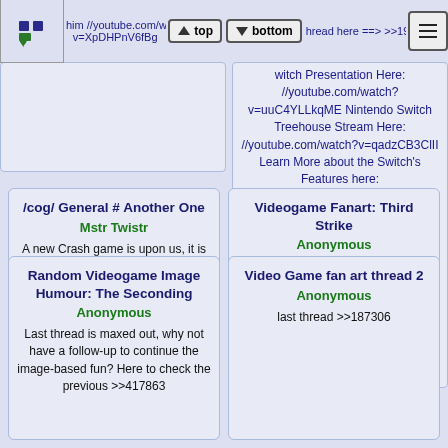him //youtube.com/watch?v=XpDHPnV6fBg [top] [bottom] hread here ==> >>1998
witch Presentation Here: //youtube.com/watch?v=uuC4YLLkqME Nintendo Switch Treehouse Stream Here: //youtube.com/watch?v=qadzCB3ClII Learn More about the Switch's Features here: http://www.nintendo.com/switch/ >News Nintendo says No Miiverse or Streetpass on the Switch: http://www.eurogamer.net/articles/2
/cog/ General # Another One
Mstr Twistr
A new Crash game is upon us, it is imminent. News with details soon. Old thread: >>202315
Videogame Fanart: Third Strike
Anonymous
The other one finally filled out so why not move to a new venue >>418558 Starting off with something of artistic quality
Random Videogame Image Humour: The Seconding
Anonymous
Last thread is maxed out, why not have a follow-up to continue the image-based fun? Here to check the previous >>417863
Video Game fan art thread 2
Anonymous
last thread >>187306